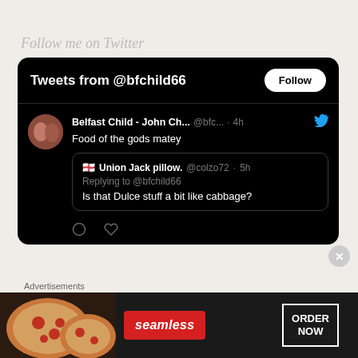Follow me on Twitter
[Figure (screenshot): Twitter widget showing tweets from @bfchild66. Header shows 'Tweets from @bfchild66' with a Follow button. A tweet from Belfast Child - John Ch... @bfc... · 4h reads 'Food of the gods matey'. A quoted tweet from 🏴󠁧󠁢󠁥󠁮󠁧󠁿 Union Jack pillow. @colzo72 · 5h is shown, replying to @bfchild66, asking 'Is that Dulce stuff a bit like cabbage?']
Advertisements
[Figure (screenshot): Seamless advertisement banner with pizza image on left, seamless logo in red, and ORDER NOW button on right]